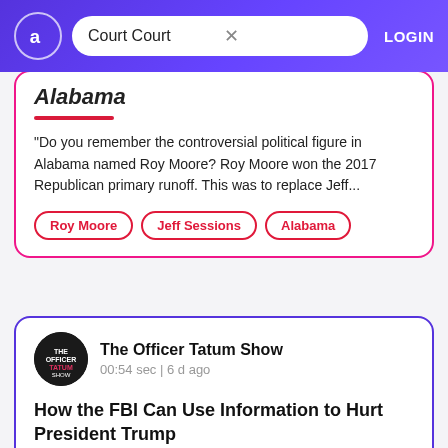Court Court  LOGIN
Alabama
"Do you remember the controversial political figure in Alabama named Roy Moore? Roy Moore won the 2017 Republican primary runoff. This was to replace Jeff...
Roy Moore
Jeff Sessions
Alabama
The Officer Tatum Show
00:54 sec | 6 d ago
How the FBI Can Use Information to Hurt President Trump